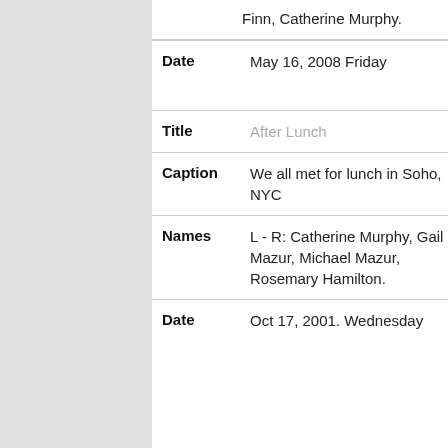Finn, Catherine Murphy.
Date: May 16, 2008 Friday
[Figure (photo): Small thumbnail photo of a group of people at lunch]
Title: After Lunch
Caption: We all met for lunch in Soho, NYC
Names: L - R: Catherine Murphy, Gail Mazur, Michael Mazur, Rosemary Hamilton.
Date: Oct 17, 2001. Wednesday